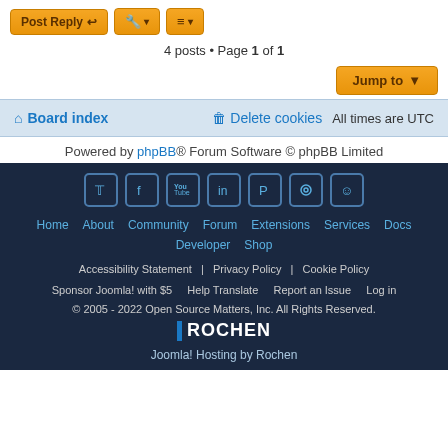Post Reply | Tools | Sort
4 posts • Page 1 of 1
Jump to
Board index   Delete cookies   All times are UTC
Powered by phpBB® Forum Software © phpBB Limited
Home About Community Forum Extensions Services Docs Developer Shop Accessibility Statement Privacy Policy Cookie Policy Sponsor Joomla! with $5 Help Translate Report an Issue Log in © 2005 - 2022 Open Source Matters, Inc. All Rights Reserved. ROCHEN Joomla! Hosting by Rochen